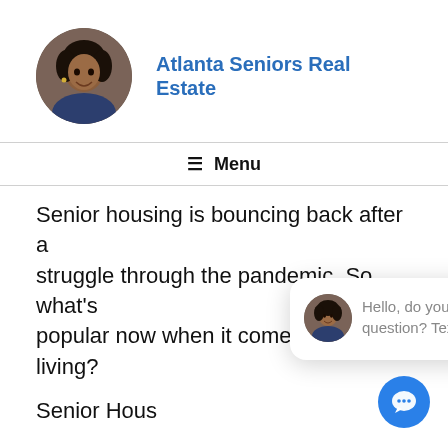[Figure (photo): Circular avatar photo of a woman, used as website profile image for Atlanta Seniors Real Estate]
Atlanta Seniors Real Estate
≡ Menu
Senior housing is bouncing back after a struggle through the pandemic. So, what's popular now when it comes to senior living?
Senior Housing [partially obscured] senior living [partially obscured]
[Figure (screenshot): Chat popup overlay with avatar and message: Hello, do you have a question? Text us here.]
(From Senior Housing News) More senior living projects will be focused on the small home trend, to create affordable